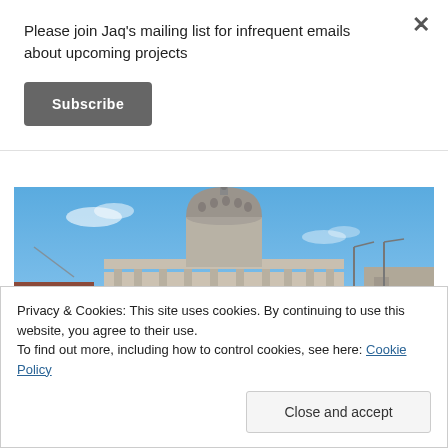Please join Jaq's mailing list for infrequent emails about upcoming projects
Subscribe
[Figure (photo): Photograph of a classical government building with a large dome, set against a blue sky with light clouds. Architectural details include columns and ornamental stonework. Street lamps and other buildings visible in the background.]
Privacy & Cookies: This site uses cookies. By continuing to use this website, you agree to their use.
To find out more, including how to control cookies, see here: Cookie Policy
Close and accept